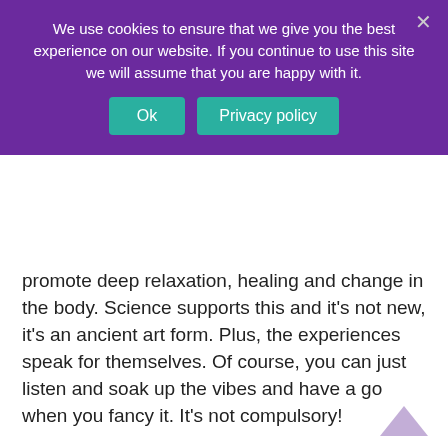We use cookies to ensure that we give you the best experience on our website. If you continue to use this site we will assume that you are happy with it.
promote deep relaxation, healing and change in the body. Science supports this and it’s not new, it’s an ancient art form. Plus, the experiences speak for themselves. Of course, you can just listen and soak up the vibes and have a go when you fancy it. It’s not compulsory!
Which takes me to the other element of this practice which is special.  The majority of postures and meditations are done with the eyes closed! Which means there’s no one looking at you other than the teacher, their role is to give guidance and encouragement. Keeping our eyes closes helps to